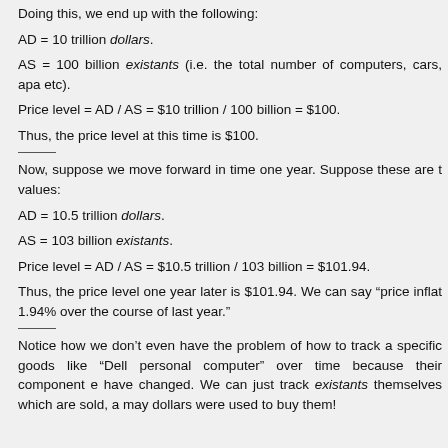Doing this, we end up with the following:
AD = 10 trillion dollars.
AS = 100 billion existants (i.e. the total number of computers, cars, apartments etc).
Price level = AD / AS = $10 trillion / 100 billion = $100.
Thus, the price level at this time is $100.
Now, suppose we move forward in time one year. Suppose these are the values:
AD = 10.5 trillion dollars.
AS = 103 billion existants.
Price level = AD / AS = $10.5 trillion / 103 billion = $101.94.
Thus, the price level one year later is $101.94. We can say "price inflation was 1.94% over the course of last year."
Notice how we don’t even have the problem of how to track a specific goods like “Dell personal computer” over time because their component e have changed. We can just track existants themselves which are sold, a may dollars were used to buy them!